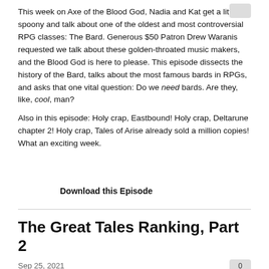This week on Axe of the Blood God, Nadia and Kat get a little spoony and talk about one of the oldest and most controversial RPG classes: The Bard. Generous $50 Patron Drew Waranis requested we talk about these golden-throated music makers, and the Blood God is here to please. This episode dissects the history of the Bard, talks about the most famous bards in RPGs, and asks that one vital question: Do we need bards. Are they, like, cool, man?
Also in this episode: Holy crap, Eastbound! Holy crap, Deltarune chapter 2! Holy crap, Tales of Arise already sold a million copies! What an exciting week.
Download this Episode
The Great Tales Ranking, Part 2
Sep 25, 2021
In this special episode of Axe of the Blood God, we continue our celebration of Namco Bandai Tales series by ranking all of its biggest games -- from the lowly Tales of the Tempest to the much-loved Tales of Symphonia!
In Part 2, we jump into the classics -- the entries that pushed the series forward and retain a special place in our hearts. Joining us once again are two